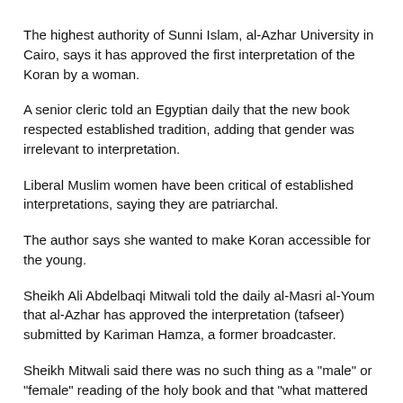The highest authority of Sunni Islam, al-Azhar University in Cairo, says it has approved the first interpretation of the Koran by a woman.
A senior cleric told an Egyptian daily that the new book respected established tradition, adding that gender was irrelevant to interpretation.
Liberal Muslim women have been critical of established interpretations, saying they are patriarchal.
The author says she wanted to make Koran accessible for the young.
Sheikh Ali Abdelbaqi Mitwali told the daily al-Masri al-Youm that al-Azhar has approved the interpretation (tafseer) submitted by Kariman Hamza, a former broadcaster.
Sheikh Mitwali said there was no such thing as a "male" or "female" reading of the holy book and that "what mattered for us was that the interpretation was in line with the text of the sacred Koran and that it did not contradict the rulings of Sharia".
Ms Hamza - who is a former presenter of religious programmes on radio -